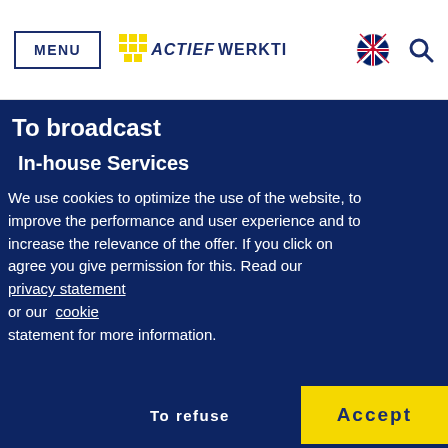MENU | ACTIEF WERKTI [logo] [UK flag] [search icon]
To broadcast
In-house Services
We use cookies to optimize the use of the website, to improve the performance and user experience and to increase the relevance of the offer. If you click on agree you give permission for this. Read our privacy statement or our cookie statement for more information.
To refuse
Accept